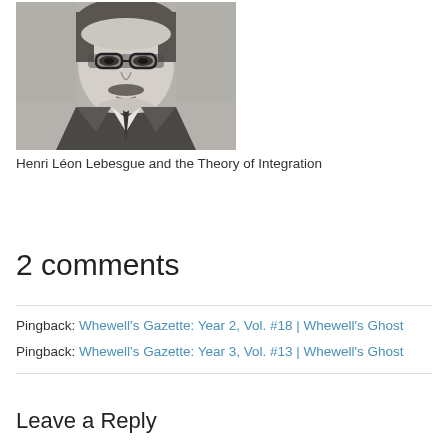[Figure (photo): Black and white portrait photograph of Henri Léon Lebesgue, a man wearing glasses, suit and tie, with a mustache.]
Henri Léon Lebesgue and the Theory of Integration
2 comments
Pingback: Whewell's Gazette: Year 2, Vol. #18 | Whewell's Ghost
Pingback: Whewell's Gazette: Year 3, Vol. #13 | Whewell's Ghost
Leave a Reply